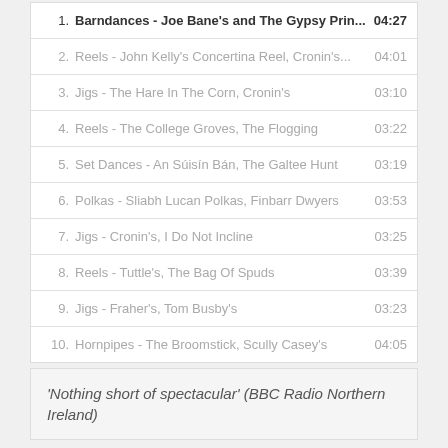1. Barndances - Joe Bane's and The Gypsy Prin... 04:27
2. Reels - John Kelly's Concertina Reel, Cronin's... 04:01
3. Jigs - The Hare In The Corn, Cronin's 03:10
4. Reels - The College Groves, The Flogging 03:22
5. Set Dances - An Súisín Bán, The Galtee Hunt 03:19
6. Polkas - Sliabh Lucan Polkas, Finbarr Dwyers 03:53
7. Jigs - Cronin's, I Do Not Incline 03:25
8. Reels - Tuttle's, The Bag Of Spuds 03:39
9. Jigs - Fraher's, Tom Busby's 03:23
10. Hornpipes - The Broomstick, Scully Casey's 04:05
'Nothing short of spectacular' (BBC Radio Northern Ireland)